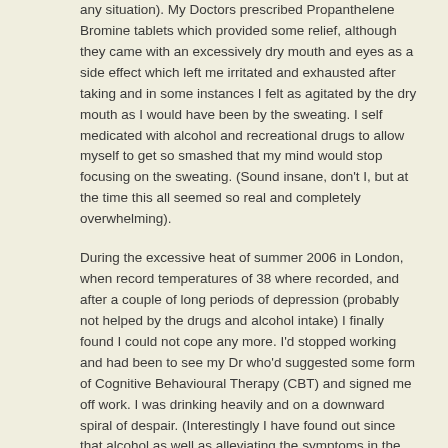any situation). My Doctors prescribed Propanthelene Bromine tablets which provided some relief, although they came with an excessively dry mouth and eyes as a side effect which left me irritated and exhausted after taking and in some instances I felt as agitated by the dry mouth as I would have been by the sweating. I self medicated with alcohol and recreational drugs to allow myself to get so smashed that my mind would stop focusing on the sweating. (Sound insane, don't I, but at the time this all seemed so real and completely overwhelming).
During the excessive heat of summer 2006 in London, when record temperatures of 38 where recorded, and after a couple of long periods of depression (probably not helped by the drugs and alcohol intake) I finally found I could not cope any more. I'd stopped working and had been to see my Dr who'd suggested some form of Cognitive Behavioural Therapy (CBT) and signed me off work. I was drinking heavily and on a downward spiral of despair. (Interestingly I have found out since that alcohol as well as alleviating the symptoms in the short term, actually increases the amount your body sweats naturally, so on all counts it's not the best solution for HH!). I decided I'd had enough and life was just too difficult, so in one last attempt to resolve this issue (and I make